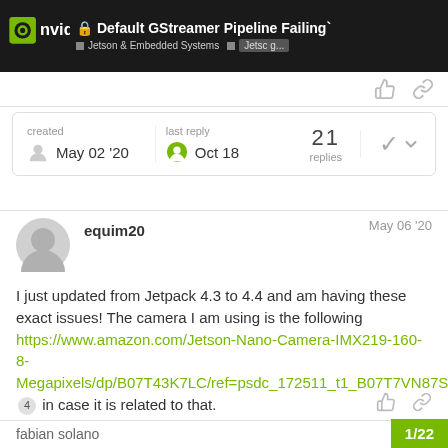🔒 Default GStreamer Pipeline Failing` — Jetson & Embedded Systems | Jetson g...
created May 02 '20   last reply Oct 18   21 replies
equim20   May 06 '20
I just updated from Jetpack 4.3 to 4.4 and am having these exact issues! The camera I am using is the following https://www.amazon.com/Jetson-Nano-Camera-IMX219-160-8-Megapixels/dp/B07T43K7LC/ref=psdc_172511_t1_B07T7VN87S 4 in case it is related to that.
fabian solano   1/22